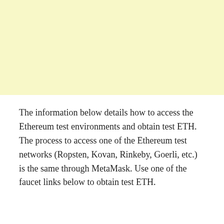[Figure (other): Yellow/cream colored block filling the top portion of the page]
The information below details how to access the Ethereum test environments and obtain test ETH. The process to access one of the Ethereum test networks (Ropsten, Kovan, Rinkeby, Goerli, etc.) is the same through MetaMask. Use one of the faucet links below to obtain test ETH.